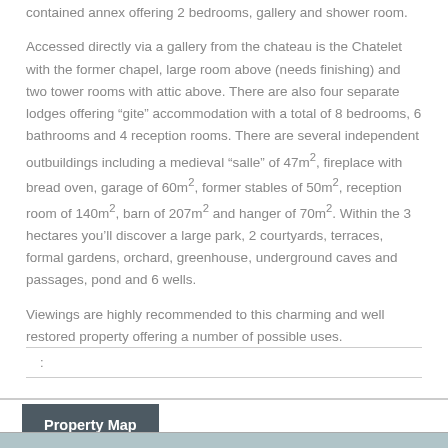contained annex offering 2 bedrooms, gallery and shower room.
Accessed directly via a gallery from the chateau is the Chatelet with the former chapel, large room above (needs finishing) and two tower rooms with attic above. There are also four separate lodges offering “gite” accommodation with a total of 8 bedrooms, 6 bathrooms and 4 reception rooms. There are several independent outbuildings including a medieval “salle” of 47m², fireplace with bread oven, garage of 60m², former stables of 50m², reception room of 140m², barn of 207m² and hanger of 70m². Within the 3 hectares you’ll discover a large park, 2 courtyards, terraces, formal gardens, orchard, greenhouse, underground caves and passages, pond and 6 wells.
Viewings are highly recommended to this charming and well restored property offering a number of possible uses.
:
Property Map